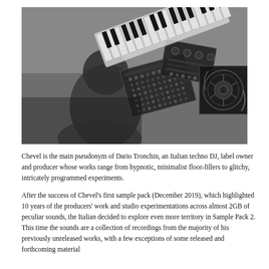[Figure (photo): Black and white photo of a person (seen from behind) in a music studio surrounded by modular synthesizers, keyboards, and audio equipment. Multiple exposure or composite effect with synthesizer hardware overlaid.]
Chevel is the main pseudonym of Dario Tronchin, an Italian techno DJ, label owner and producer whose works range from hypnotic, minimalist floor-fillers to glitchy, intricately programmed experiments.
After the success of Chevel's first sample pack (December 2019), which highlighted 10 years of the producers' work and studio experimentations across almost 2GB of peculiar sounds, the Italian decided to explore even more territory in Sample Pack 2. This time the sounds are a collection of recordings from the majority of his previously unreleased works, with a few exceptions of some released and forthcoming material